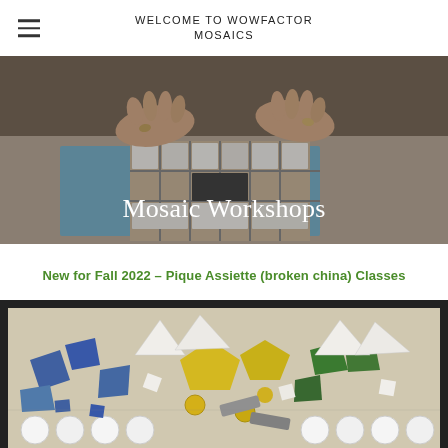WELCOME TO WOWFACTOR MOSAICS
[Figure (photo): Close-up photo of hands arranging mosaic tiles on a surface, with white marble and dark tiles being placed in a pattern on a blue background.]
Mosaic Workshops
New for Fall 2022 – Pique Assiette (broken china) Classes
[Figure (photo): Photo of a completed mosaic artwork featuring broken china pieces, glass gems, and tiles in white, blue, yellow and green colors arranged in a decorative pattern within a dark frame.]